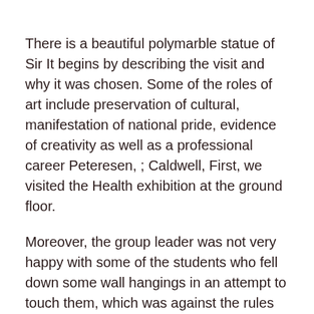There is a beautiful polymarble statue of Sir It begins by describing the visit and why it was chosen. Some of the roles of art include preservation of cultural, manifestation of national pride, evidence of creativity as well as a professional career Peteresen, ; Caldwell, First, we visited the Health exhibition at the ground floor.
Moreover, the group leader was not very happy with some of the students who fell down some wall hangings in an attempt to touch them, which was against the rules were given.
Also part of the collection are the rare archival materials such as essays, proofs, specimens and the stamps issued in the early Strait Settlements.